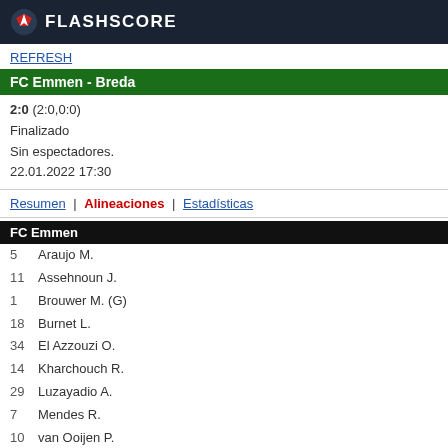FLASHSCORE
REFRESH
FC Emmen - Breda
2:0 (2:0,0:0)
Finalizado
Sin espectadores.
22.01.2022 17:30
Resumen | Alineaciones | Estadísticas
FC Emmen
5   Araujo M.
11  Assehnoun J.
1   Brouwer M. (G)
18  Burnet L.
34  El Azzouzi O.
14  Kharchouch R.
29  Luzayadio A.
7   Mendes R.
10  van Ooijen P.
4   Veldmate J.
20  Vlak J.
26  Groothuizen I. (G)
16  van Dorp K. (G)
2   Apau M.
8   Bernadou L.